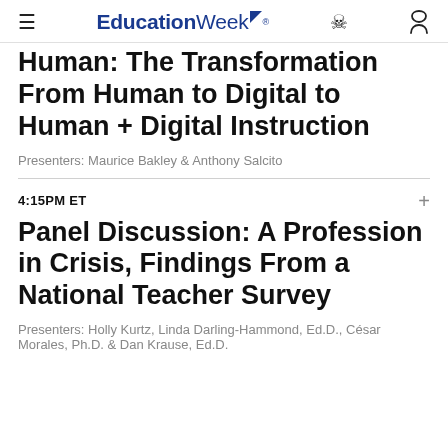EducationWeek
Human: The Transformation From Human to Digital to Human + Digital Instruction
Presenters: Maurice Bakley & Anthony Salcito
4:15PM ET
Panel Discussion: A Profession in Crisis, Findings From a National Teacher Survey
Presenters: Holly Kurtz, Linda Darling-Hammond, Ed.D., César Morales, Ph.D. & Dan Krause, Ed.D.